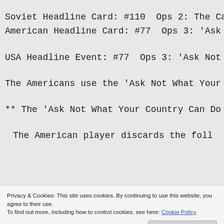Soviet Headline Card: #110  Ops 2: The Ca
American Headline Card: #77  Ops 3: 'Ask
USA Headline Event: #77  Ops 3: 'Ask Not
The Americans use the 'Ask Not What Your
** The 'Ask Not What Your Country Can Do
The American player discards the foll
Privacy & Cookies: This site uses cookies. By continuing to use this website, you agree to their use. To find out more, including how to control cookies, see here: Cookie Policy
Close and accept
The Soviet player the foll